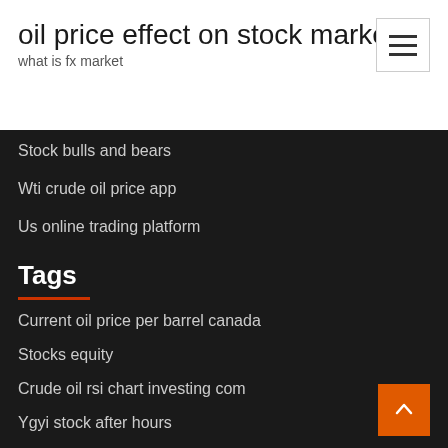oil price effect on stock market
what is fx market
Stock bulls and bears
Wti crude oil price app
Us online trading platform
Tags
Current oil price per barrel canada
Stocks equity
Crude oil rsi chart investing com
Ygyi stock after hours
Stock price valuation